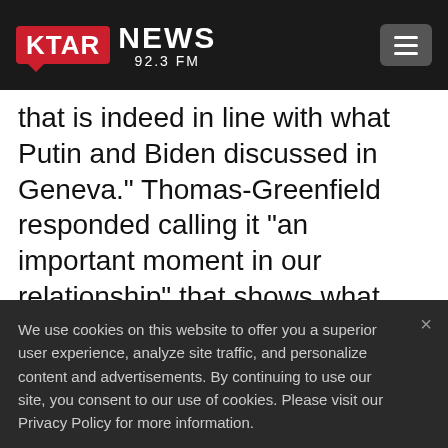[Figure (logo): KTAR News 92.3 FM logo with red box containing KTAR text and hamburger menu button]
that is indeed in line with what Putin and Biden discussed in Geneva.” Thomas-Greenfield responded calling it “an important moment in our relationship” that shows what can be achieved “if we work with them diplomatically on common goals.”
We use cookies on this website to offer you a superior user experience, analyze site traffic, and personalize content and advertisements. By continuing to use our site, you consent to our use of cookies. Please visit our Privacy Policy for more information.
Accept Cookies